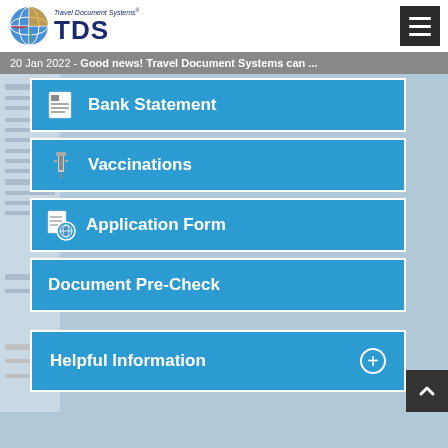Travel Document Systems TDS
20 Jan 2022 - Good news! Travel Document Systems can ...
Bank Statement
Vaccinations
Application Form
Document Pre-Check
Helpful Information +